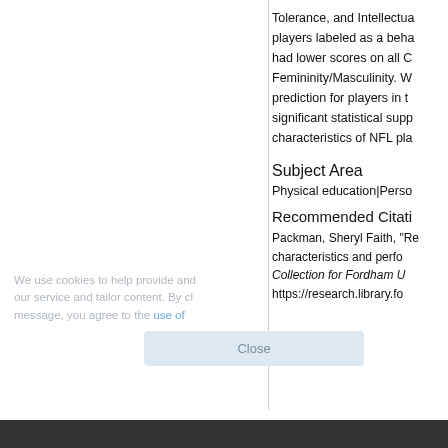Tolerance, and Intellectual players labeled as a behavioral had lower scores on all Femininity/Masculinity. W prediction for players in t significant statistical supp characteristics of NFL pla
Subject Area
Physical education|Perso
Recommended Citati
Packman, Sheryl Faith, "Re characteristics and perfo Collection for Fordham U https://research.library.fo
We use cookies to help provide and our service and tailor content. By cl message, you agree to the use of
Close